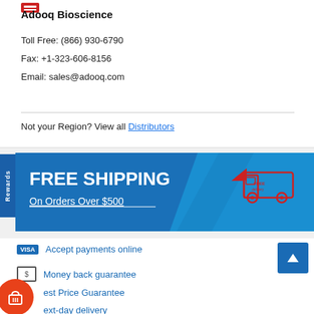[Figure (logo): Adooq Bioscience partial logo at top]
Adooq Bioscience
Toll Free: (866) 930-6790
Fax: +1-323-606-8156
Email: sales@adooq.com
Not your Region? View all Distributors
[Figure (infographic): Blue FREE SHIPPING banner with delivery truck illustration. Text: FREE SHIPPING, On Orders Over $500]
Accept payments online
Money back guarantee
Best Price Guarantee
Next-day delivery